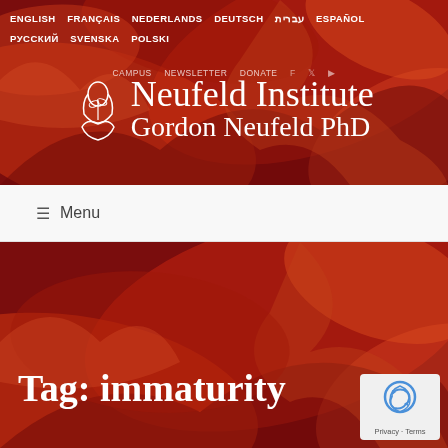ENGLISH FRANÇAIS NEDERLANDS DEUTSCH עברית ESPAÑOL РУССКИЙ SVENSKA POLSKI
[Figure (logo): Neufeld Institute logo with hands holding a plant icon, text: Neufeld Institute / Gordon Neufeld PhD]
CAMPUS NEWSLETTER DONATE
≡ Menu
Tag: immaturity
[Figure (illustration): reCAPTCHA privacy badge with Privacy - Terms text]